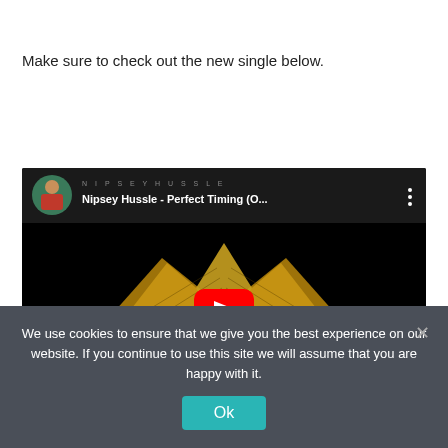Make sure to check out the new single below.
[Figure (screenshot): Embedded YouTube video player showing 'Nipsey Hussle - Perfect Timing (O...' with channel label 'NIPSEY HUSSLE', a red play button overlay, and a gold diamond/wings thumbnail on black background.]
We use cookies to ensure that we give you the best experience on our website. If you continue to use this site we will assume that you are happy with it.